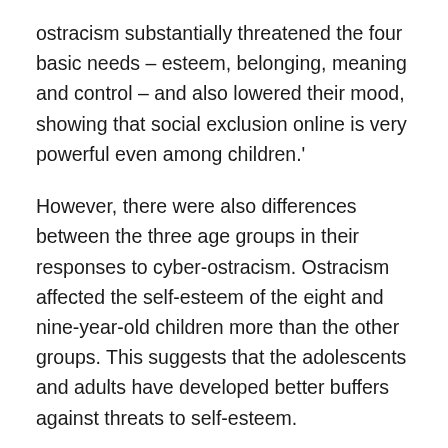ostracism substantially threatened the four basic needs – esteem, belonging, meaning and control – and also lowered their mood, showing that social exclusion online is very powerful even among children.'
However, there were also differences between the three age groups in their responses to cyber-ostracism. Ostracism affected the self-esteem of the eight and nine-year-old children more than the other groups. This suggests that the adolescents and adults have developed better buffers against threats to self-esteem.
Among the thirteen to fourteen-year-olds ostracism had the largest effect on feelings of belonging, strongly suggesting that adolescents may place a higher value on inclusion in peer networks than do children or adults.
The good news is that the negative reactions were